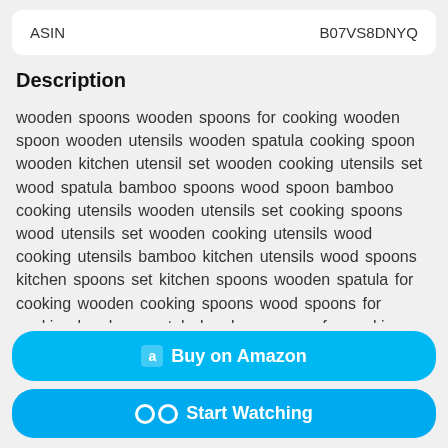| ASIN | B07VS8DNYQ |
| --- | --- |
Description
wooden spoons wooden spoons for cooking wooden spoon wooden utensils wooden spatula cooking spoon wooden kitchen utensil set wooden cooking utensils set wood spatula bamboo spoons wood spoon bamboo cooking utensils wooden utensils set cooking spoons wood utensils set wooden cooking utensils wood cooking utensils bamboo kitchen utensils wood spoons kitchen spoons set kitchen spoons wooden spatula for cooking wooden cooking spoons wood spoons for cooking bamboo spatula bamboo spoons for cooking wood kitchen utensil set bamboo spoon large wooden
Buy on Amazon
Start Watching